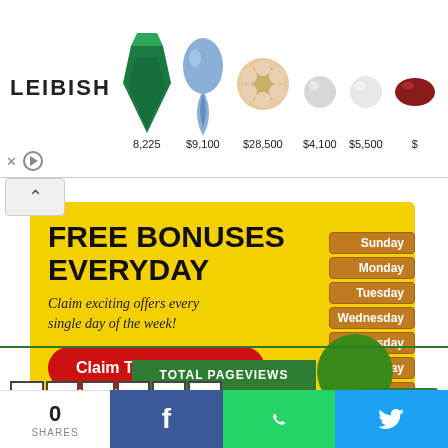[Figure (screenshot): Leibish jewelry advertisement banner showing logo and gemstone items with prices: 8,225, $9,100, $28,500, $4,100, $5,500]
[Figure (screenshot): Surebet247 advertisement with yellow background. Heading: FREE BONUSES EVERYDAY. Subtext: Claim exciting offers every single day of the week! Red button: Claim Today's Bonus. URL: www.surebet247.com. Days of week panel on right side.]
TOTAL PAGEVIEWS
0 SHARES
[Figure (screenshot): Social share bar with Facebook, WhatsApp, and Twitter buttons]